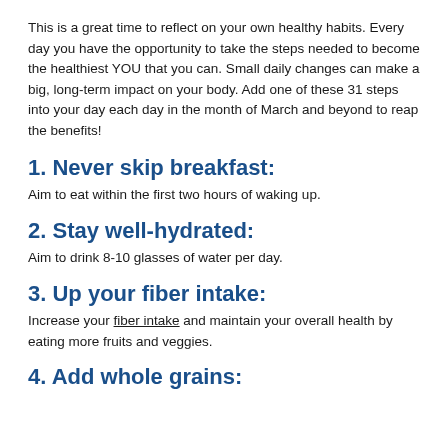This is a great time to reflect on your own healthy habits. Every day you have the opportunity to take the steps needed to become the healthiest YOU that you can. Small daily changes can make a big, long-term impact on your body. Add one of these 31 steps into your day each day in the month of March and beyond to reap the benefits!
1. Never skip breakfast:
Aim to eat within the first two hours of waking up.
2. Stay well-hydrated:
Aim to drink 8-10 glasses of water per day.
3. Up your fiber intake:
Increase your fiber intake and maintain your overall health by eating more fruits and veggies.
4. Add whole grains: